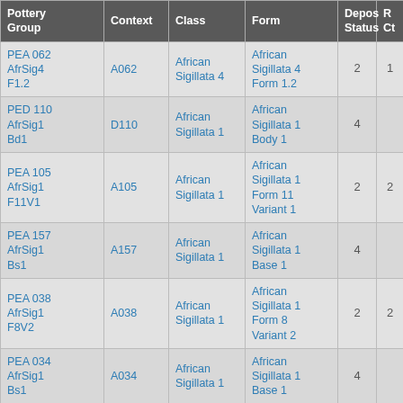| Pottery Group | Context | Class | Form | Depos Status | R Ct | R EVE |
| --- | --- | --- | --- | --- | --- | --- |
| PEA 062 AfrSig4 F1.2 | A062 | African Sigillata 4 | African Sigillata 4 Form 1.2 | 2 | 1 | 1 |
| PED 110 AfrSig1 Bd1 | D110 | African Sigillata 1 | African Sigillata 1 Body 1 | 4 |  |  |
| PEA 105 AfrSig1 F11V1 | A105 | African Sigillata 1 | African Sigillata 1 Form 11 Variant 1 | 2 | 2 | 2 |
| PEA 157 AfrSig1 Bs1 | A157 | African Sigillata 1 | African Sigillata 1 Base 1 | 4 |  |  |
| PEA 038 AfrSig1 F8V2 | A038 | African Sigillata 1 | African Sigillata 1 Form 8 Variant 2 | 2 | 2 | 2 |
| PEA 034 AfrSig1 Bs1 | A034 | African Sigillata 1 | African Sigillata 1 Base 1 | 4 |  |  |